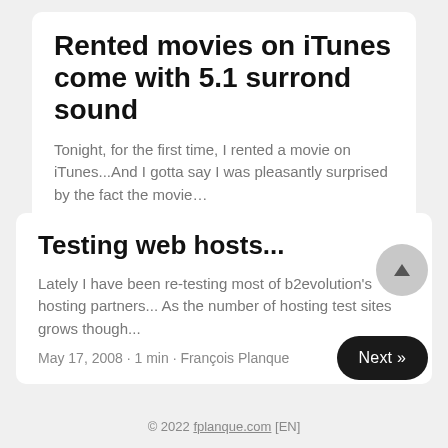Rented movies on iTunes come with 5.1 surrond sound
Tonight, for the first time, I rented a movie on iTunes...And I gotta say I was pleasantly surprised by the fact the movie…
July 16, 2009 · 1 min · François Planque
Testing web hosts...
Lately I have been re-testing most of b2evolution's hosting partners... As the number of hosting test sites grows though...
May 17, 2008 · 1 min · François Planque
© 2022 fplanque.com [EN]